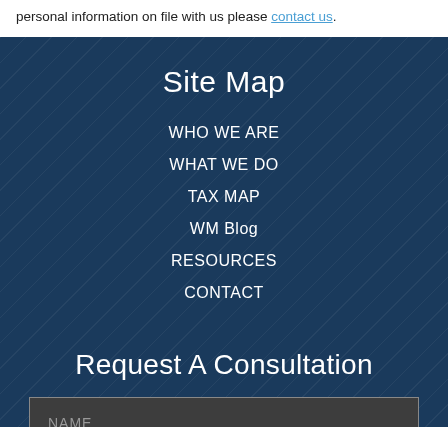personal information on file with us please contact us.
Site Map
WHO WE ARE
WHAT WE DO
TAX MAP
WM Blog
RESOURCES
CONTACT
Request A Consultation
NAME